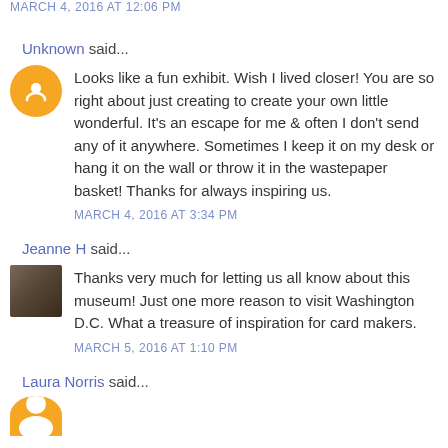MARCH 4, 2016 AT 12:06 PM
Unknown said...
Looks like a fun exhibit. Wish I lived closer! You are so right about just creating to create your own little wonderful. It's an escape for me & often I don't send any of it anywhere. Sometimes I keep it on my desk or hang it on the wall or throw it in the wastepaper basket! Thanks for always inspiring us.
MARCH 4, 2016 AT 3:34 PM
Jeanne H said...
Thanks very much for letting us all know about this museum! Just one more reason to visit Washington D.C. What a treasure of inspiration for card makers.
MARCH 5, 2016 AT 1:10 PM
Laura Norris said...